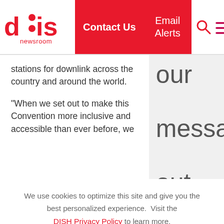DISH Newsroom — Contact Us | Email Alerts
stations for downlink across the country and around the world.

"When we set out to make this Convention more inclusive and accessible than ever before, we
our message out – we
We use cookies to optimize this site and give you the best personalized experience.  Visit the DISH Privacy Policy to learn more.
Accept